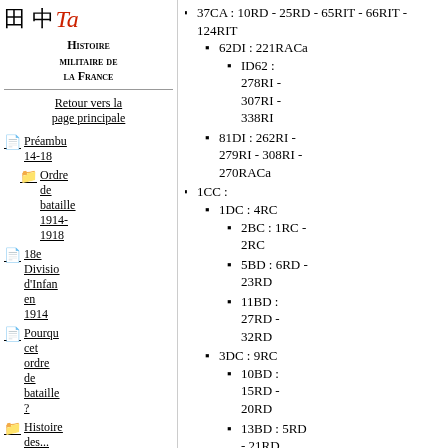Histoire militaire de la France
Retour vers la page principale
Préambu 14-18
Ordre de bataille 1914-1918
18e Division d'Infan en 1914
Pourquoi cet ordre de bataille ?
Histoire des...
37CA : 10RD - 25RD - 65RIT - 66RIT - 124RIT
62DI : 221RACa
ID62 : 278RI - 307RI - 338RI
81DI : 262RI - 279RI - 308RI - 270RACa
1CC :
1DC : 4RC
2BC : 1RC - 2RC
5BD : 6RD - 23RD
11BD : 27RD - 32RD
3DC : 9RC
10BD : 15RD - 20RD
13BD : 5RD - 21RD
3BL : 3RH - 8RH
5DC : 11RC